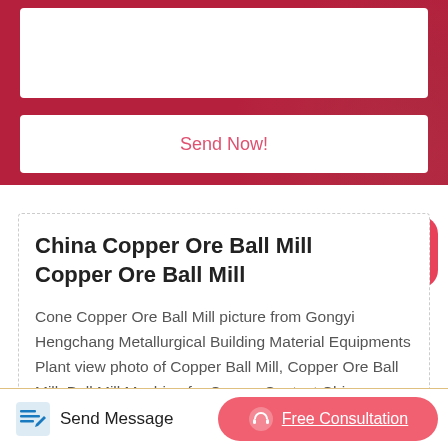[Figure (screenshot): Red background section with a white input text area at top and a 'Send Now!' button below it, part of a web form UI]
Send Now!
[Figure (other): Red rounded-square upload/back-to-top icon button positioned at top-right of the card]
China Copper Ore Ball Mill Copper Ore Ball Mill
Cone Copper Ore Ball Mill picture from Gongyi Hengchang Metallurgical Building Material Equipments Plant view photo of Copper Ball Mill, Copper Ore Ball Mill, Ball Mill Machine for Copper.Contact China Suppliers for Products and Price.
Send Message
Free Consultation